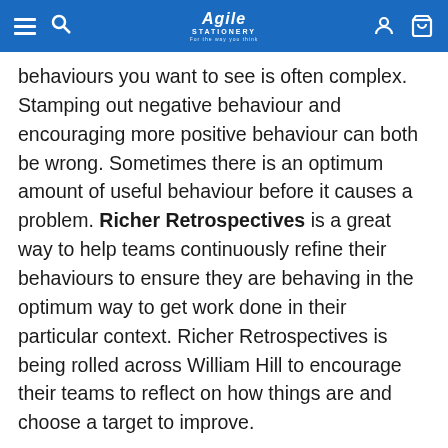Agile Stationery — navigation header
behaviours you want to see is often complex. Stamping out negative behaviour and encouraging more positive behaviour can both be wrong. Sometimes there is an optimum amount of useful behaviour before it causes a problem. Richer Retrospectives is a great way to help teams continuously refine their behaviours to ensure they are behaving in the optimum way to get work done in their particular context. Richer Retrospectives is being rolled across William Hill to encourage their teams to reflect on how things are and choose a target to improve.
About Laurence Wood
Creator of the Richer Roles and Richer